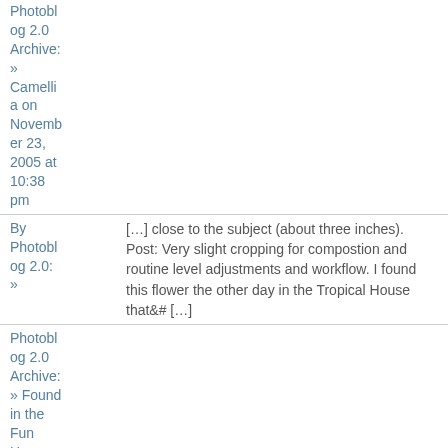Photoblog 2.0 Archive: » Camellia on November 23, 2005 at 10:38 pm
[…] close to the subject (about three inches). Post: Very slight cropping for compostion and routine level adjustments and workflow. I found this flower the other day in the Tropical House that&# […]
By Photoblog 2.0: » Photoblog 2.0 Archive: » Found in the Fun House on